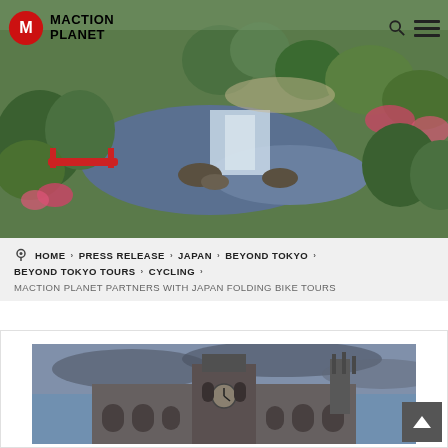[Figure (photo): Aerial view of a Japanese garden with a waterfall, red bridge, pond, and lush green trees and colorful flowers]
[Figure (logo): Maction Planet logo — red circle with M, black text reading MACTION PLANET]
HOME › PRESS RELEASE › JAPAN › BEYOND TOKYO › BEYOND TOKYO TOURS › CYCLING ›
MACTION PLANET PARTNERS WITH JAPAN FOLDING BIKE TOURS
[Figure (photo): Photograph of a historic Japanese building with a clock tower, stone facade, gothic-style arches, against a cloudy sky]